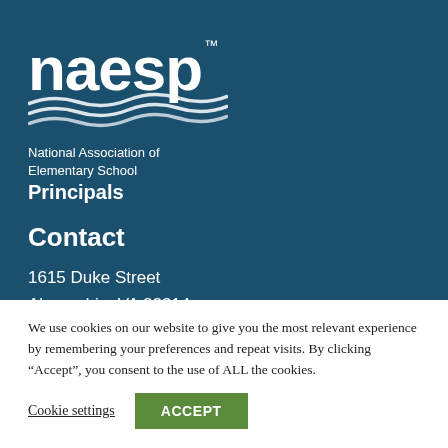[Figure (logo): NAESP logo with stylized wave lines and text 'naesp' on dark teal background]
National Association of Elementary School Principals
Contact
1615 Duke Street
Alexandria, VA 22314
703-684-3345
We use cookies on our website to give you the most relevant experience by remembering your preferences and repeat visits. By clicking “Accept”, you consent to the use of ALL the cookies.
Cookie settings  ACCEPT